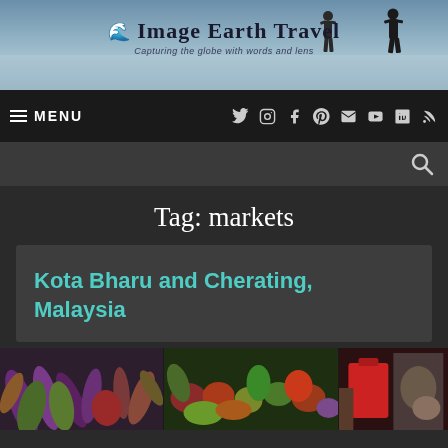[Figure (photo): Header banner with silhouettes of two people walking on a reflective surface, with Image Earth Travel logo and tagline 'Capturing the globe with words and lens']
Image Earth Travel — Capturing the globe with words and lens
MENU
Tag: markets
Kota Bharu and Cherating, Malaysia
[Figure (photo): Three side-by-side market photos showing colorful vegetables and produce at a market in Malaysia]